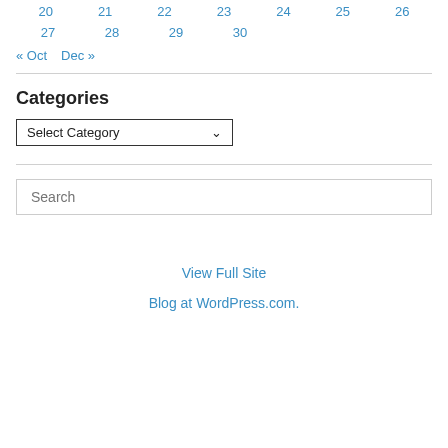| 20 | 21 | 22 | 23 | 24 | 25 | 26 |
| 27 | 28 | 29 | 30 |  |  |  |
« Oct   Dec »
Categories
Select Category (dropdown)
Search
View Full Site
Blog at WordPress.com.